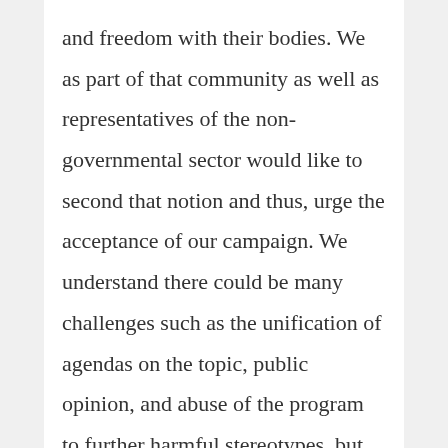and freedom with their bodies. We as part of that community as well as representatives of the non-governmental sector would like to second that notion and thus, urge the acceptance of our campaign. We understand there could be many challenges such as the unification of agendas on the topic, public opinion, and abuse of the program to further harmful stereotypes, but we are motivated and hopeful. Sex education is